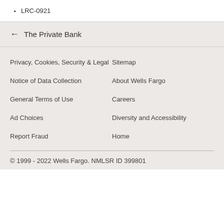LRC-0921
← The Private Bank
Privacy, Cookies, Security & Legal
Sitemap
Notice of Data Collection
About Wells Fargo
General Terms of Use
Careers
Ad Choices
Diversity and Accessibility
Report Fraud
Home
© 1999 - 2022 Wells Fargo. NMLSR ID 399801